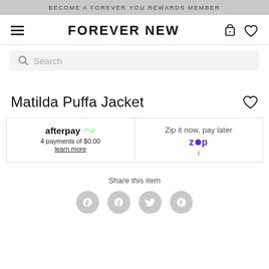BECOME A FOREVER YOU REWARDS MEMBER
[Figure (logo): Forever New logo with hamburger menu, bag and heart icons]
Search
Matilda Puffa Jacket
afterpay - 4 payments of $0.00 - learn more
Zip it now, pay later
Share this item